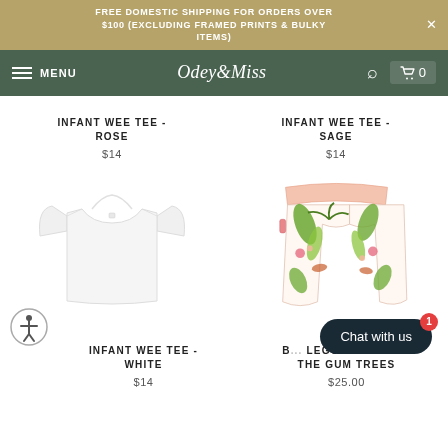FREE DOMESTIC SHIPPING FOR ORDERS OVER $100 (EXCLUDING FRAMED PRINTS & BULKY ITEMS)
Osley&Miss — MENU | Search | Cart 0
INFANT WEE TEE - ROSE
$14
INFANT WEE TEE - SAGE
$14
[Figure (photo): White infant short-sleeve t-shirt on white background]
[Figure (photo): Colourful tropical print baby leggings with floral and jungle animal pattern]
INFANT WEE TEE - WHITE
$14
B... LEGGINGS - ...NG THE GUM TREES
$25.00